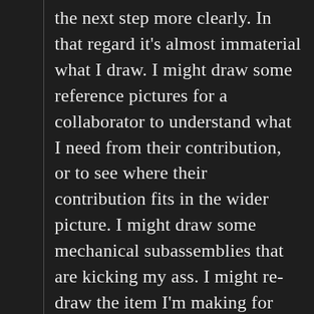the next step more clearly. In that regard it's almost immaterial what I draw. I might draw some reference pictures for a collaborator to understand what I need from their contribution, or to see where their contribution fits in the wider picture. I might draw some mechanical subassemblies that are kicking my ass. I might re-draw the item I'm making for fun, just to stay inside the construction in my head. I might draw a case for an object, or a case I'd like to build for it when it's done. Sometimes the exercise of thinking about what might contain the thing I'm making can help clarify further